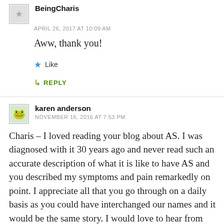BeingCharis
APRIL 26, 2017 AT 10:09 AM
Aww, thank you!
Like
REPLY
karen anderson
NOVEMBER 16, 2016 AT 7:53 PM
Charis – I loved reading your blog about AS. I was diagnosed with it 30 years ago and never read such an accurate description of what it is like to have AS and you described my symptoms and pain remarkedly on point. I appreciate all that you go through on a daily basis as you could have interchanged our names and it would be the same story. I would love to hear from you and more about your life and how you deal with it. I also have